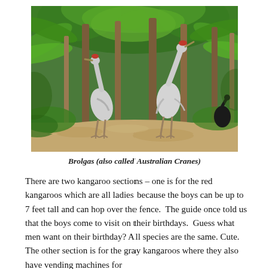[Figure (photo): Two Brolgas (Australian Cranes) standing among tall palm and tropical trees in a lush green zoo enclosure with sandy ground. A dark bird is visible in the background right.]
Brolgas (also called Australian Cranes)
There are two kangaroo sections – one is for the red kangaroos which are all ladies because the boys can be up to 7 feet tall and can hop over the fence.  The guide once told us that the boys come to visit on their birthdays.  Guess what men want on their birthday? All species are the same. Cute.  The other section is for the gray kangaroos where they also have vending machines for